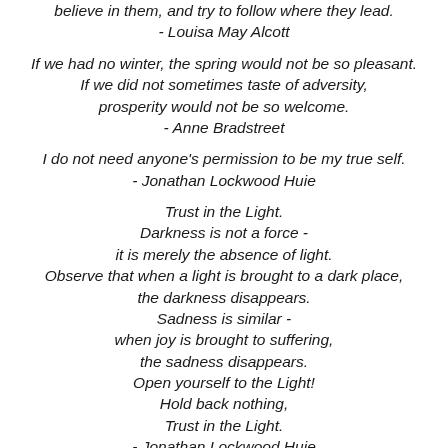believe in them, and try to follow where they lead.
- Louisa May Alcott
If we had no winter, the spring would not be so pleasant. If we did not sometimes taste of adversity, prosperity would not be so welcome.
- Anne Bradstreet
I do not need anyone's permission to be my true self.
- Jonathan Lockwood Huie
Trust in the Light.
Darkness is not a force -
it is merely the absence of light.
Observe that when a light is brought to a dark place,
the darkness disappears.
Sadness is similar -
when joy is brought to suffering,
the sadness disappears.
Open yourself to the Light!
Hold back nothing,
Trust in the Light.
- Jonathan Lockwood Huie
Do not let Sunday be taken from you.
If your soul has no Sunday, it becomes an orphan.